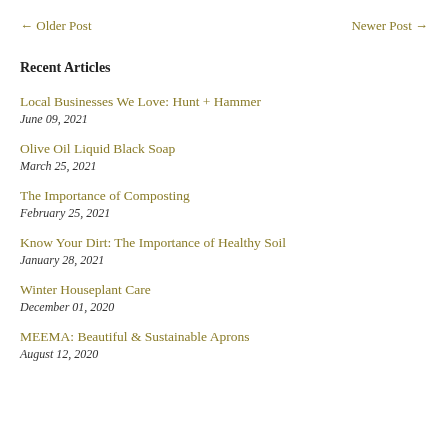← Older Post    Newer Post →
Recent Articles
Local Businesses We Love: Hunt + Hammer
June 09, 2021
Olive Oil Liquid Black Soap
March 25, 2021
The Importance of Composting
February 25, 2021
Know Your Dirt: The Importance of Healthy Soil
January 28, 2021
Winter Houseplant Care
December 01, 2020
MEEMA: Beautiful & Sustainable Aprons
August 12, 2020